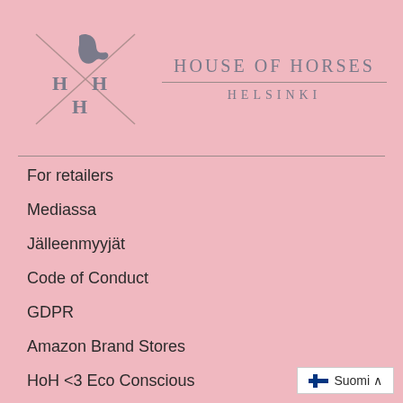[Figure (logo): House of Horses Helsinki logo with stylized H H H letters and horse silhouette in a cross pattern, followed by brand name text]
For retailers
Mediassa
Jälleenmyyjät
Code of Conduct
GDPR
Amazon Brand Stores
HoH <3 Eco Conscious
HoH Stores
HoH Club
Suomi